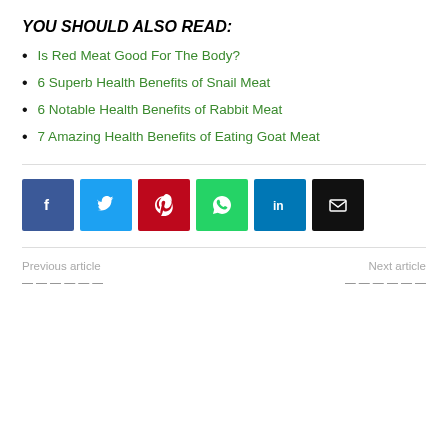YOU SHOULD ALSO READ:
Is Red Meat Good For The Body?
6 Superb Health Benefits of Snail Meat
6 Notable Health Benefits of Rabbit Meat
7 Amazing Health Benefits of Eating Goat Meat
[Figure (other): Social sharing buttons: Facebook, Twitter, Pinterest, WhatsApp, LinkedIn, Email]
Previous article
Next article